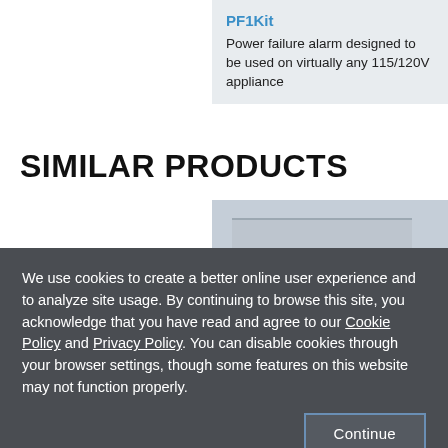PF1Kit
Power failure alarm designed to be used on virtually any 115/120V appliance
SIMILAR PRODUCTS
[Figure (photo): Product image placeholder — grey rectangle showing a device panel]
We use cookies to create a better online user experience and to analyze site usage. By continuing to browse this site, you acknowledge that you have read and agree to our Cookie Policy and Privacy Policy. You can disable cookies through your browser settings, though some features on this website may not function properly.
Continue